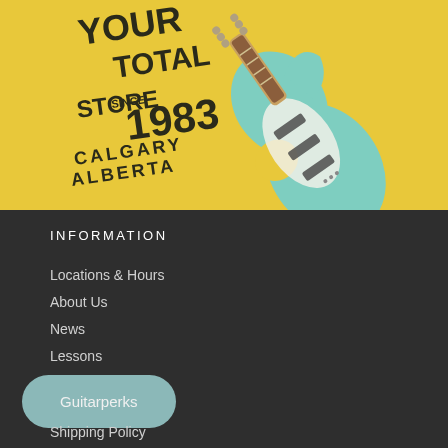[Figure (logo): Guitar store logo on yellow background: a mint/seafoam green electric guitar (Stratocaster style) overlapping bold text reading YOUR TOTAL STORE SINCE 1983 CALGARY ALBERTA]
INFORMATION
Locations & Hours
About Us
News
Lessons
Repairs
Guitarperks
Shipping Policy